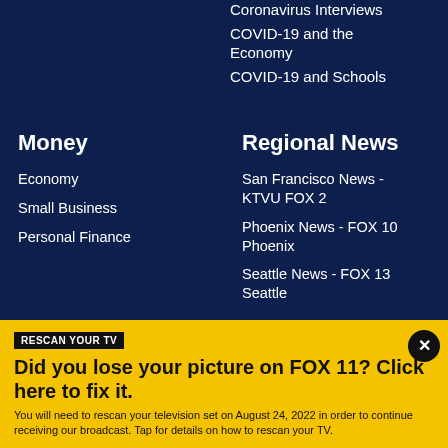Coronavirus Interviews
COVID-19 and the Economy
COVID-19 and Schools
Money
Economy
Small Business
Personal Finance
Regional News
San Francisco News - KTVU FOX 2
Phoenix News - FOX 10 Phoenix
Seattle News - FOX 13 Seattle
RESCAN YOUR TV
Did you lose your picture on FOX 11? Click here to fix it.
You will need to rescan your television set on August 24, 2022 in order to continue receiving our broadcast. Tap for details on how to rescan your TV.